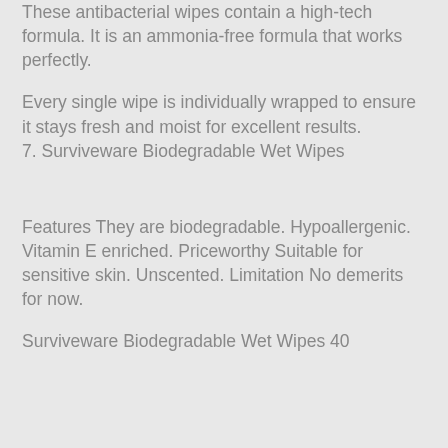These antibacterial wipes contain a high-tech formula. It is an ammonia-free formula that works perfectly.
Every single wipe is individually wrapped to ensure it stays fresh and moist for excellent results.
7. Surviveware Biodegradable Wet Wipes
Features They are biodegradable. Hypoallergenic. Vitamin E enriched. Priceworthy Suitable for sensitive skin. Unscented. Limitation No demerits for now.
Surviveware Biodegradable Wet Wipes 40